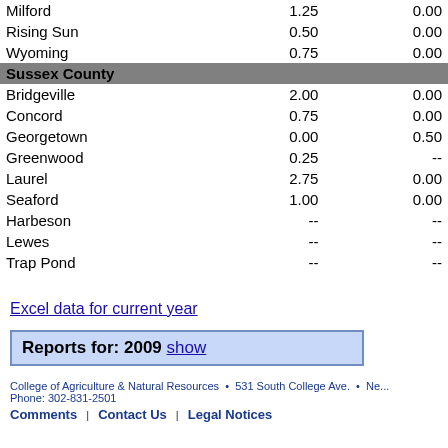|  | Col1 | Col2 |
| --- | --- | --- |
| Milford | 1.25 | 0.00 |
| Rising Sun | 0.50 | 0.00 |
| Wyoming | 0.75 | 0.00 |
| Sussex County |  |  |
| Bridgeville | 2.00 | 0.00 |
| Concord | 0.75 | 0.00 |
| Georgetown | 0.00 | 0.50 |
| Greenwood | 0.25 | -- |
| Laurel | 2.75 | 0.00 |
| Seaford | 1.00 | 0.00 |
| Harbeson | -- | -- |
| Lewes | -- | -- |
| Trap Pond | -- | -- |
Excel data for current year
Reports for: 2009 show
College of Agriculture & Natural Resources • 531 South College Ave. • Phone: 302-831-2501 Comments | Contact Us | Legal Notices